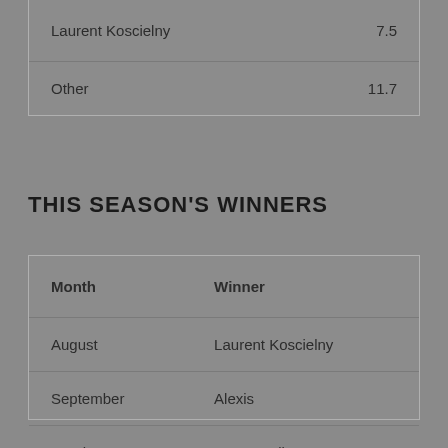|  |  |
| --- | --- |
| Laurent Koscielny | 7.5 |
| Other | 11.7 |
THIS SEASON'S WINNERS
| Month | Winner |
| --- | --- |
| August | Laurent Koscielny |
| September | Alexis |
| October | Mesut Ozil |